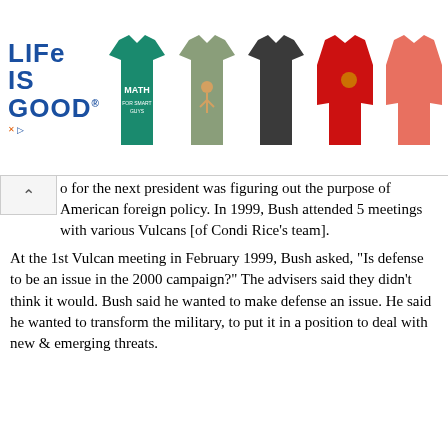[Figure (illustration): Life is Good advertisement banner with logo text and five colored t-shirts displayed]
o for the next president was figuring out the purpose of American foreign policy. In 1999, Bush attended 5 meetings with various Vulcans [of Condi Rice's team].
At the 1st Vulcan meeting in February 1999, Bush asked, "Is defense to be an issue in the 2000 campaign?" The advisers said they didn't think it would. Bush said he wanted to make defense an issue. He said he wanted to transform the military, to put it in a position to deal with new & emerging threats.
To do that, the advisers said, the military would need new equipment. Bush indicated he was willing to make that investment. Bush gave a speech at The Citadel in Sept: 1999: "I will defend the American people against missiles and terror," Bush said, "And I will begin creating the military of the next century. Homeland defense has become an urgent duty." He cited the potential "threat of biological, chemical and nuclear terrorism. Every group or nation must know, if they sponsor such attacks, our response will be devastating."
Source: State of Denial, by Bob Woodward, p. 7-8 , Oct 1, 2006
Increased military pay by 4% per year
The President is committed to taking good care of our military personnel and their families. His fiscal year 2004 budget builds on pay increases of 4% or more in the last two budgets. The budget funds greater military pay increases from 2 to 6.25% to total ll